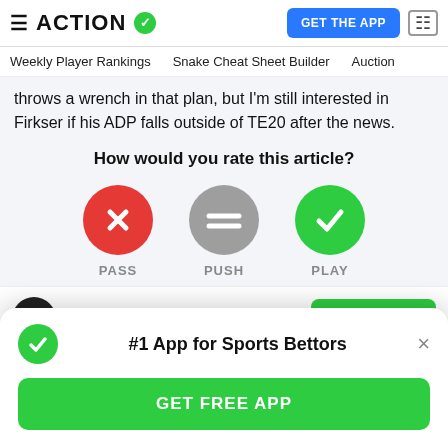ACTION ✓ | GET THE APP
Weekly Player Rankings  Snake Cheat Sheet Builder  Auction
throws a wrench in that plan, but I'm still interested in Firkser if his ADP falls outside of TE20 after the news.
How would you rate this article?
[Figure (infographic): Three rating buttons: PASS (red circle with X), PUSH (gray circle with equals), PLAY (green circle with checkmark)]
Follow Sean Koerner ✓ | Download App
#1 App for Sports Bettors
GET FREE APP